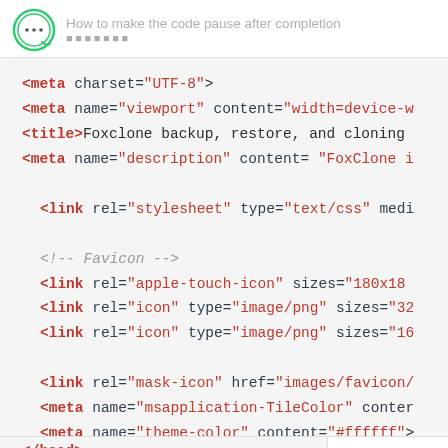How to make the code pause after completion
[Figure (screenshot): Code editor screenshot showing HTML head section with meta tags, link tags for stylesheet and favicons, and body tag. Code uses monospace font with red/crimson colored HTML tags and attribute values.]
1 / 6